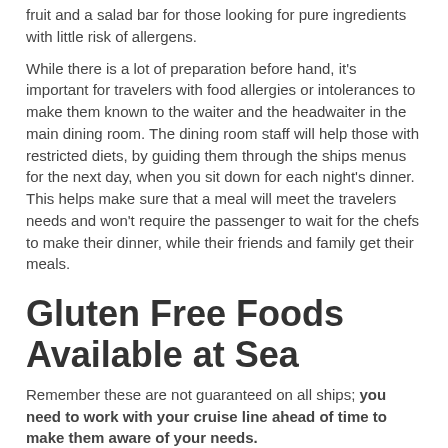fruit and a salad bar for those looking for pure ingredients with little risk of allergens.
While there is a lot of preparation before hand, it's important for travelers with food allergies or intolerances to make them known to the waiter and the headwaiter in the main dining room. The dining room staff will help those with restricted diets, by guiding them through the ships menus for the next day, when you sit down for each night's dinner. This helps make sure that a meal will meet the travelers needs and won't require the passenger to wait for the chefs to make their dinner, while their friends and family get their meals.
Gluten Free Foods Available at Sea
Remember these are not guaranteed on all ships; you need to work with your cruise line ahead of time to make them aware of your needs.
Bread
Pasta